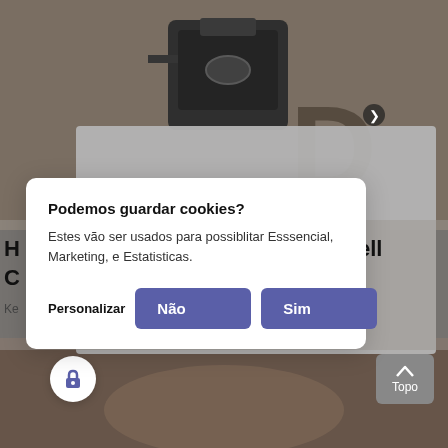[Figure (screenshot): Background photo of a doorbell/outdoor light fixture mounted on a stone wall, with a hand visible at the bottom holding something.]
Podemos guardar cookies?
Estes vão ser usados para possiblitar Esssencial, Marketing, e Estatisticas.
Personalizar
Não
Sim